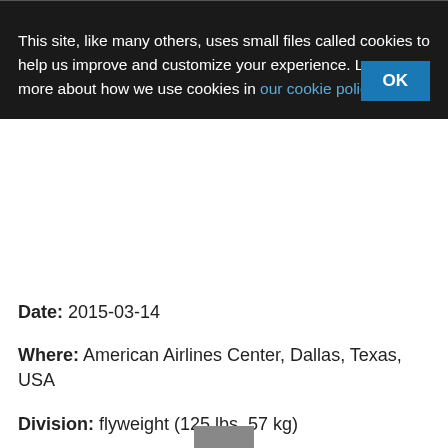This site, like many others, uses small files called cookies to help us improve and customize your experience. Learn more about how we use cookies in our cookie policy.
Date: 2015-03-14
Where: American Airlines Center, Dallas, Texas, USA
Division: flyweight (125 lbs, 57 kg)
Result: Click here to show the fight's result